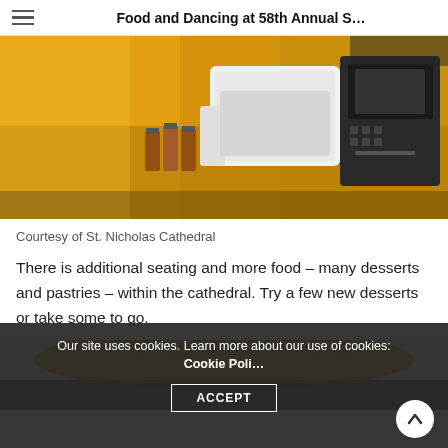Food and Dancing at 58th Annual S…
[Figure (photo): Photo of a food service table with styrofoam takeout containers, small glass spice bottles, and a dark cash register or payment terminal on a yellow-lit surface]
Courtesy of St. Nicholas Cathedral
There is additional seating and more food – many desserts and pastries – within the cathedral. Try a few new desserts or take some to go.
[Figure (photo): Partial photo showing a golden-brown baked pastry item, partially visible at the bottom of the page]
Our site uses cookies. Learn more about our use of cookies: Cookie Poli…
ACCEPT